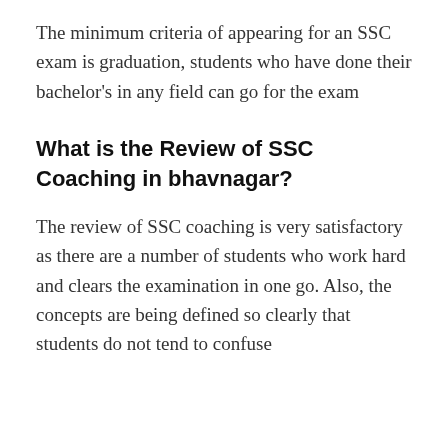The minimum criteria of appearing for an SSC exam is graduation, students who have done their bachelor's in any field can go for the exam
What is the Review of SSC Coaching in bhavnagar?
The review of SSC coaching is very satisfactory as there are a number of students who work hard and clears the examination in one go. Also, the concepts are being defined so clearly that students do not tend to confuse